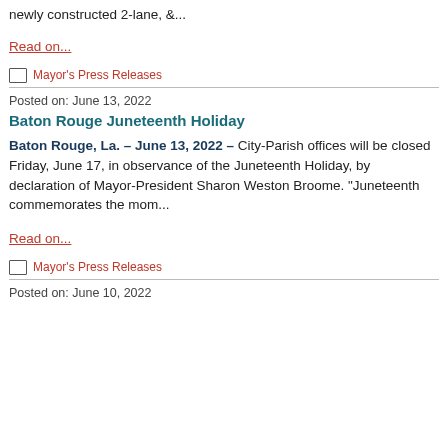newly constructed 2-lane, &...
Read on...
Mayor's Press Releases
Posted on: June 13, 2022
Baton Rouge Juneteenth Holiday
Baton Rouge, La. – June 13, 2022 – City-Parish offices will be closed Friday, June 17, in observance of the Juneteenth Holiday, by declaration of Mayor-President Sharon Weston Broome. "Juneteenth commemorates the mom...
Read on...
Mayor's Press Releases
Posted on: June 10, 2022